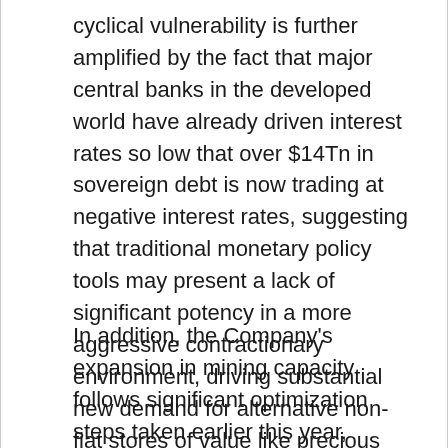cyclical vulnerability is further amplified by the fact that major central banks in the developed world have already driven interest rates so low that over $14Tn in sovereign debt is now trading at negative interest rates, suggesting that traditional monetary policy tools may present a lack of significant potency in a more aggressive contractionary environment, driving substantial new demand for alternative non-fiat stores of value like precious metals and Bitcoin as a hedge against experimental new stimulus strategies such as Modern Monetary Theory.
In addition, the Company's expansion in mining capacity follows significant optimization steps taken earlier this year, including a sharp reduction in all-in utility costs (annual energy savings of as